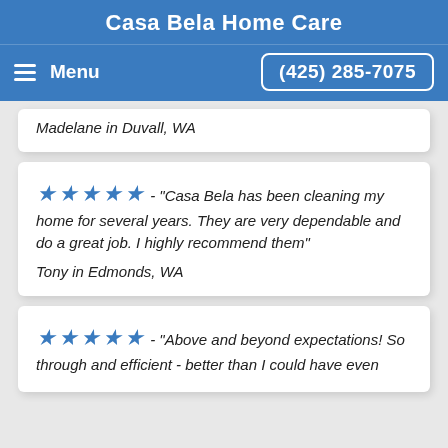Casa Bela Home Care
Menu
(425) 285-7075
Madelane in Duvall, WA
★★★★★ - "Casa Bela has been cleaning my home for several years. They are very dependable and do a great job. I highly recommend them"
Tony in Edmonds, WA
★★★★★ - "Above and beyond expectations! So through and efficient - better than I could have even